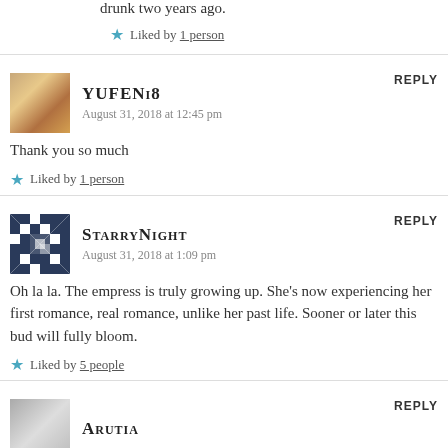drunk two years ago.
★ Liked by 1 person
YUFENI8 says:
August 31, 2018 at 12:45 pm
REPLY
Thank you so much
★ Liked by 1 person
STARRYNIGHT says:
August 31, 2018 at 1:09 pm
REPLY
Oh la la. The empress is truly growing up. She's now experiencing her first romance, real romance, unlike her past life. Sooner or later this bud will fully bloom.
★ Liked by 5 people
ARUTIA says:
REPLY